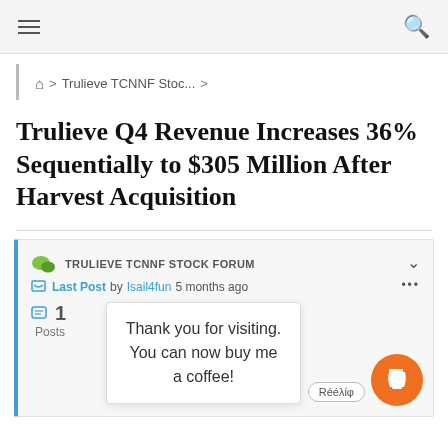Navigation bar with hamburger menu and search icon
Trulieve TCNNF Stoc...
Trulieve Q4 Revenue Increases 36% Sequentially to $305 Million After Harvest Acquisition
TRULIEVE TCNNF STOCK FORUM
Last Post by Isail4fun 5 months ago
1 Posts
Thank you for visiting. You can now buy me a coffee!